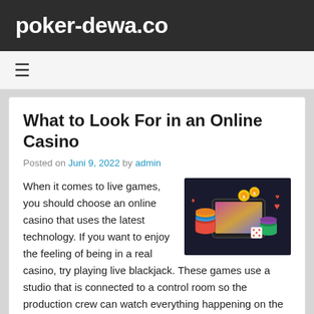poker-dewa.co
≡
What to Look For in an Online Casino
Posted on Juni 9, 2022 by admin
[Figure (photo): Online casino themed image with poker chips, dice, playing cards, and a tablet device with colorful casino graphics.]
When it comes to live games, you should choose an online casino that uses the latest technology. If you want to enjoy the feeling of being in a real casino, try playing live blackjack. These games use a studio that is connected to a control room so the production crew can watch everything happening on the screen. If the visual quality of a live game is poor, you won't be able to get the full enjoyment of the